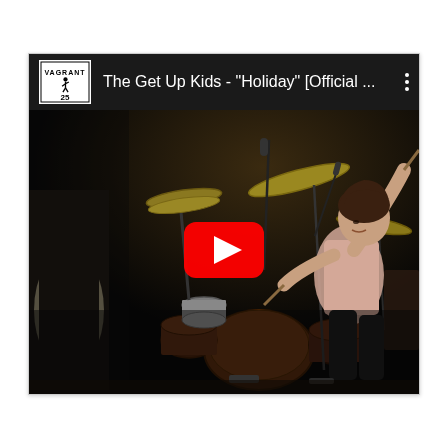[Figure (screenshot): YouTube video embed showing The Get Up Kids - 'Holiday' [Official ...] with Vagrant Records 25th anniversary logo. The thumbnail shows a drummer performing on stage in dark lighting with cymbals visible. A red YouTube play button is centered over the image.]